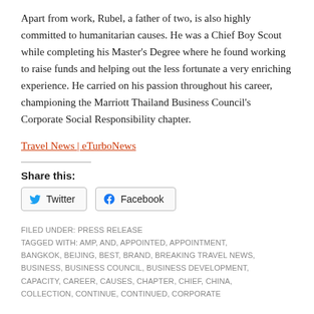Apart from work, Rubel, a father of two, is also highly committed to humanitarian causes. He was a Chief Boy Scout while completing his Master's Degree where he found working to raise funds and helping out the less fortunate a very enriching experience. He carried on his passion throughout his career, championing the Marriott Thailand Business Council's Corporate Social Responsibility chapter.
Travel News | eTurboNews
Share this:
Twitter  Facebook
FILED UNDER: PRESS RELEASE
TAGGED WITH: AMP, AND, APPOINTED, APPOINTMENT, BANGKOK, BEIJING, BEST, BRAND, BREAKING TRAVEL NEWS, BUSINESS, BUSINESS COUNCIL, BUSINESS DEVELOPMENT, CAPACITY, CAREER, CAUSES, CHAPTER, CHIEF, CHINA, COLLECTION, CONTINUE, CONTINUED, CORPORATE